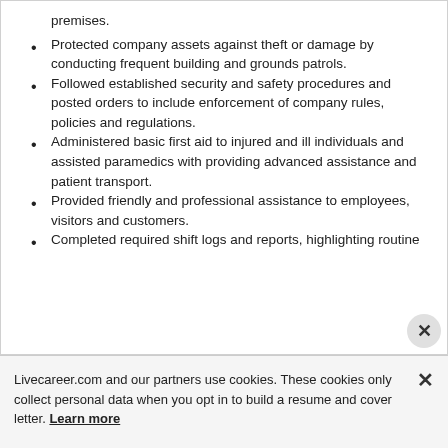premises.
Protected company assets against theft or damage by conducting frequent building and grounds patrols.
Followed established security and safety procedures and posted orders to include enforcement of company rules, policies and regulations.
Administered basic first aid to injured and ill individuals and assisted paramedics with providing advanced assistance and patient transport.
Provided friendly and professional assistance to employees, visitors and customers.
Completed required shift logs and reports, highlighting routine activities and observations.
Livecareer.com and our partners use cookies. These cookies only collect personal data when you opt in to build a resume and cover letter. Learn more